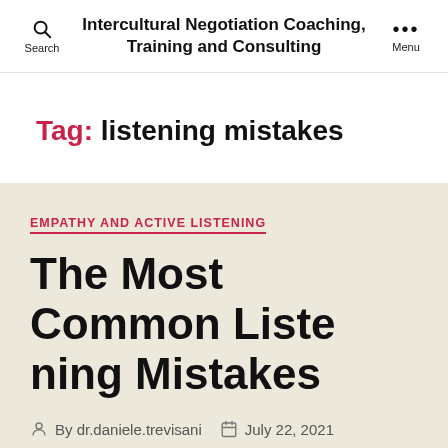Intercultural Negotiation Coaching, Training and Consulting
Tag: listening mistakes
EMPATHY AND ACTIVE LISTENING
The Most Common Listening Mistakes
By dr.daniele.trevisani  July 22, 2021